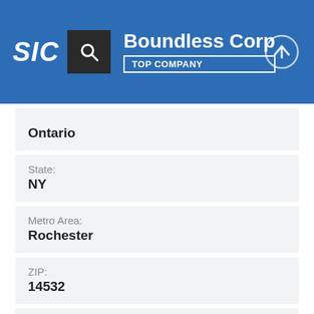SIC — Boundless Corp — TOP COMPANY
Ontario
State: NY
Metro Area: Rochester
ZIP: 14532
Area Code: 315